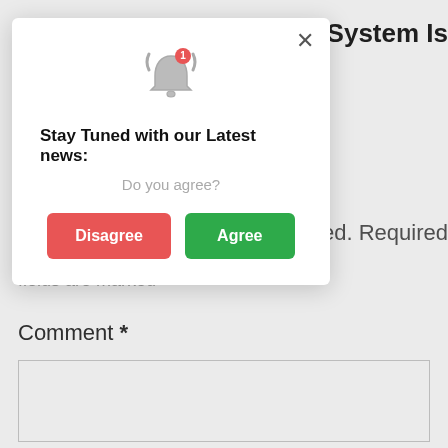olar System Is
ed. Required
fields are marked
[Figure (screenshot): Browser notification consent modal dialog with a bell icon showing badge '1', title 'Stay Tuned with our Latest news:', subtitle 'Do you agree?', and two buttons: 'Disagree' (red) and 'Agree' (green), with an X close button in top right.]
Comment *
(empty textarea input field)